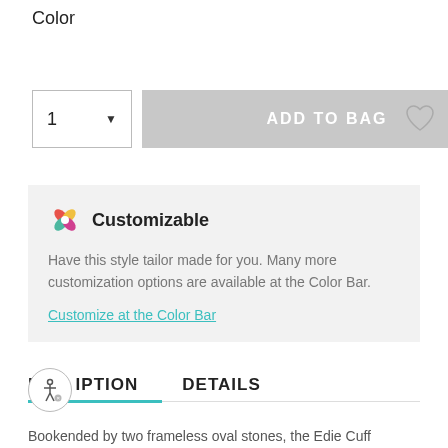Color
[Figure (other): Quantity selector showing '1' with dropdown arrow, and a gray 'ADD TO BAG' button, and a heart/wishlist icon]
Customizable
Have this style tailor made for you. Many more customization options are available at the Color Bar.
Customize at the Color Bar
DESCRIPTION   DETAILS
Bookended by two frameless oval stones, the Edie Cuff